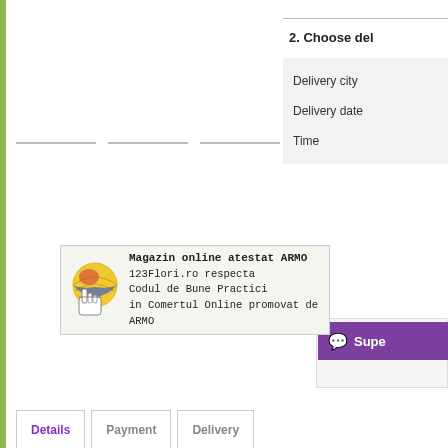2. Choose del
Delivery city
Delivery date
Time
[Figure (logo): ARMO certified online store badge with globe/hand icon. Text: Magazin online atestat ARMO, 123Flori.ro respecta Codul de Bune Practici in Comertul Online promovat de ARMO]
Supe
Details
Payment
Delivery